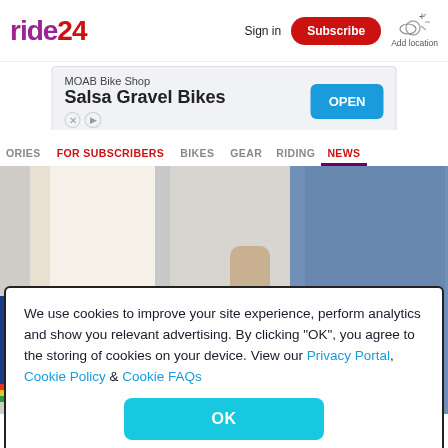ride24 | Sign in | Subscribe | Add location
[Figure (screenshot): Advertisement banner for MOAB Bike Shop - Salsa Gravel Bikes with OPEN button]
STORIES | FOR SUBSCRIBERS | BIKES | GEAR | RIDING | NEWS
[Figure (photo): Three men in button-up shirts standing together in front of World Championships 2021 banner backdrop]
We use cookies to improve your site experience, perform analytics and show you relevant advertising. By clicking "OK", you agree to the storing of cookies on your device. View our Privacy Portal, Cookie Policy & Cookie FAQs